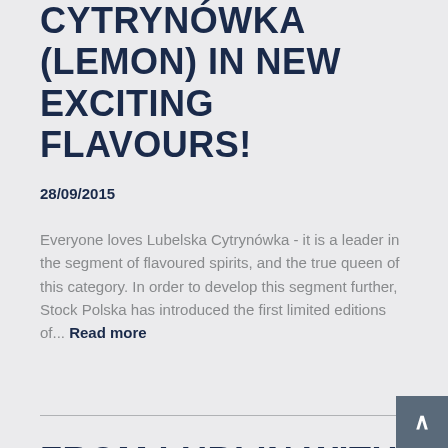CYTRYNÓWKA (LEMON) IN NEW EXCITING FLAVOURS!
28/09/2015
Everyone loves Lubelska Cytrynówka - it is a leader in the segment of flavoured spirits, and the true queen of this category. In order to develop this segment further, Stock Polska has introduced the first limited editions of... Read more
FROM LUBLIN WITH LOVE!
15/09/2015